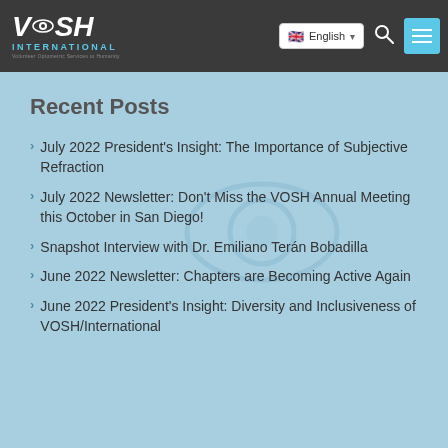VOSH INTERNATIONAL — English language selector, search icon, menu icon
Recent Posts
July 2022 President's Insight: The Importance of Subjective Refraction
July 2022 Newsletter: Don't Miss the VOSH Annual Meeting this October in San Diego!
Snapshot Interview with Dr. Emiliano Terán Bobadilla
June 2022 Newsletter: Chapters are Becoming Active Again
June 2022 President's Insight: Diversity and Inclusiveness of VOSH/International